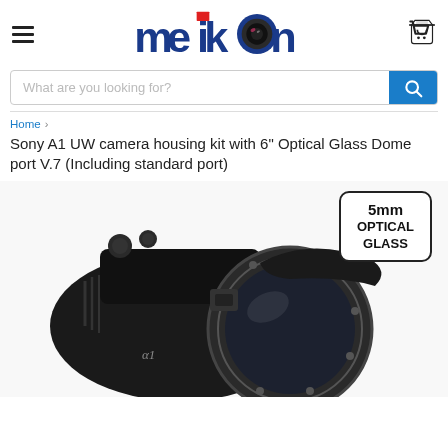[Figure (logo): Meikon brand logo with stylized text and camera lens icon]
What are you looking for?
Home > Sony A1 UW camera housing kit with 6" Optical Glass Dome port V.7 (Including standard port)
Sony A1 UW camera housing kit with 6" Optical Glass Dome port V.7 (Including standard port)
[Figure (photo): Sony A1 underwater camera housing kit with 6 inch optical glass dome port. Black housing with dome lens attachment. Badge overlay showing 5mm OPTICAL GLASS.]